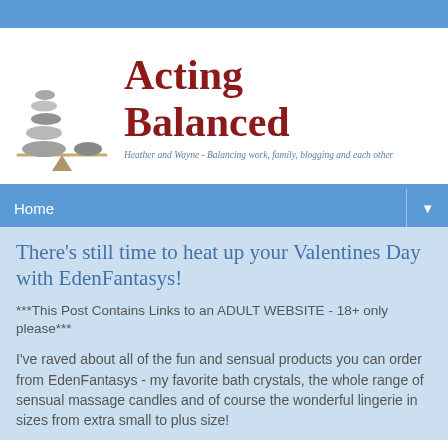[Figure (logo): Acting Balanced blog logo with stacked stones on a balance beam and text 'Acting Balanced' in dark red serif font, subtitle: 'Heather and Wayne - Balancing work, family, blogging and each other']
Home
There's still time to heat up your Valentines Day with EdenFantasys!
***This Post Contains Links to an ADULT WEBSITE - 18+ only please***
I've raved about all of the fun and sensual products you can order from EdenFantasys - my favorite bath crystals, the whole range of sensual massage candles and of course the wonderful lingerie in sizes from extra small to plus size!